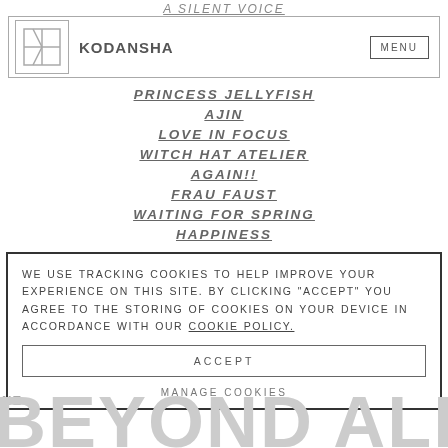A SILENT VOICE
[Figure (logo): Kodansha logo with geometric K icon and MENU button nav bar]
PRINCESS JELLYFISH
AJIN
LOVE IN FOCUS
WITCH HAT ATELIER
AGAIN!!
FRAU FAUST
WAITING FOR SPRING
HAPPINESS
WE USE TRACKING COOKIES TO HELP IMPROVE YOUR EXPERIENCE ON THIS SITE. BY CLICKING "ACCEPT" YOU AGREE TO THE STORING OF COOKIES ON YOUR DEVICE IN ACCORDANCE WITH OUR COOKIE POLICY.
ACCEPT
MANAGE COOKIES